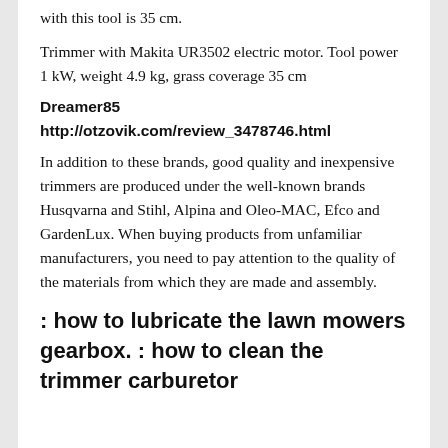with this tool is 35 cm.
Trimmer with Makita UR3502 electric motor. Tool power 1 kW, weight 4.9 kg, grass coverage 35 cm
Dreamer85
http://otzovik.com/review_3478746.html
In addition to these brands, good quality and inexpensive trimmers are produced under the well-known brands Husqvarna and Stihl, Alpina and Oleo-MAC, Efco and GardenLux. When buying products from unfamiliar manufacturers, you need to pay attention to the quality of the materials from which they are made and assembly.
: how to lubricate the lawn mowers gearbox. : how to clean the trimmer carburetor